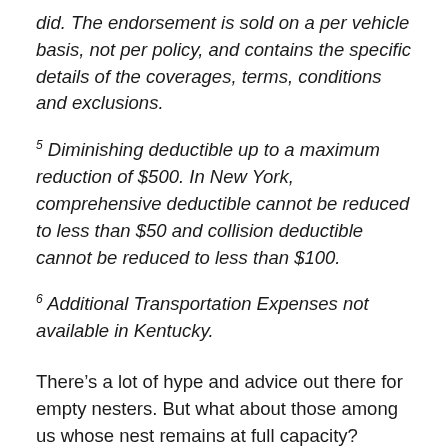did. The endorsement is sold on a per vehicle basis, not per policy, and contains the specific details of the coverages, terms, conditions and exclusions.
5 Diminishing deductible up to a maximum reduction of $500. In New York, comprehensive deductible cannot be reduced to less than $50 and collision deductible cannot be reduced to less than $100.
6 Additional Transportation Expenses not available in Kentucky.
There’s a lot of hype and advice out there for empty nesters. But what about those among us whose nest remains at full capacity?